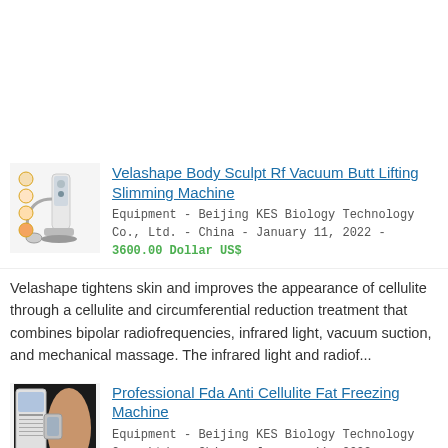[Figure (photo): Photo of Velashape Body Sculpt machine with treatment area illustrations]
Velashape Body Sculpt Rf Vacuum Butt Lifting Slimming Machine
Equipment - Beijing KES Biology Technology Co., Ltd. - China - January 11, 2022 - 3600.00 Dollar US$
Velashape tightens skin and improves the appearance of cellulite through a cellulite and circumferential reduction treatment that combines bipolar radiofrequencies, infrared light, vacuum suction, and mechanical massage. The infrared light and radiof...
[Figure (photo): Photo of Professional Fda Anti Cellulite Fat Freezing Machine with person receiving treatment]
Professional Fda Anti Cellulite Fat Freezing Machine
Equipment - Beijing KES Biology Technology Co., Ltd. - China - January 11, 2022 - 3600.00 Dollar US$